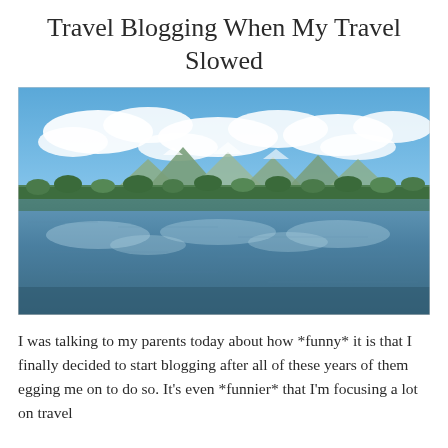Travel Blogging When My Travel Slowed
[Figure (photo): A scenic lake reflecting a blue sky with white clouds, green trees along the shoreline, and mountains in the background]
I was talking to my parents today about how *funny* it is that I finally decided to start blogging after all of these years of them egging me on to do so. It's even *funnier* that I'm focusing a lot on travel